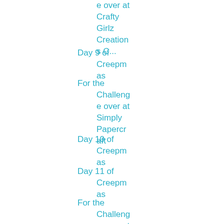e over at Crafty Girlz Creations C...
Day 9 of Creepmas
For the Challenge over at Simply Papercraft
Day 10 of Creepmas
Day 11 of Creepmas
For the Challenge over at Crafty Girls Creation...